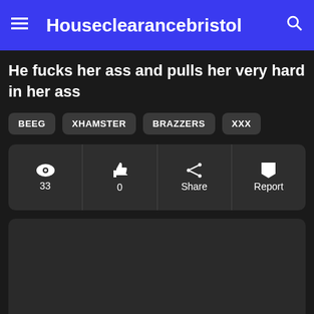Houseclearancebristol
He fucks her ass and pulls her very hard in her ass
BEEG
XHAMSTER
BRAZZERS
XXX
33
0
Share
Report
[Figure (other): Dark placeholder video area with back-to-top button]